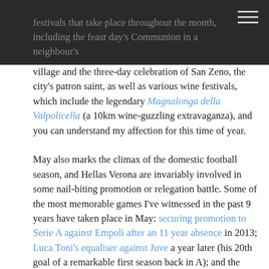festivals that take place throughout the month, including the feast day's Communion in a neighbour's village and the three-day celebration of San Zeno, the city's patron saint, as well as various wine festivals, which include the legendary Magnalonga della Valpolicella (a 10km wine-guzzling extravaganza), and you can understand my affection for this time of year.
May also marks the climax of the domestic football season, and Hellas Verona are invariably involved in some nail-biting promotion or relegation battle. Some of the most memorable games I've witnessed in the past 9 years have taken place in May: securing promotion to Serie A against Empoli after an 11 year absence in 2013; Luca Toni's equaliser against Juve a year later (his 20th goal of a remarkable first season back in A); and the bittersweet victory against Juve 2 years later, Luca Toni's last game, with relegation already confirmed; and finally last season's incredible play offs, which